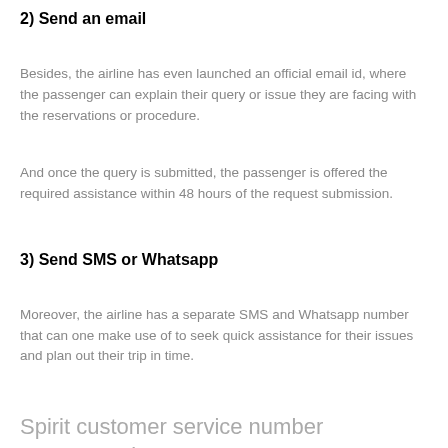2) Send an email
Besides, the airline has even launched an official email id, where the passenger can explain their query or issue they are facing with the reservations or procedure.
And once the query is submitted, the passenger is offered the required assistance within 48 hours of the request submission.
3) Send SMS or Whatsapp
Moreover, the airline has a separate SMS and Whatsapp number that can one make use of to seek quick assistance for their issues and plan out their trip in time.
Spirit customer service number representative